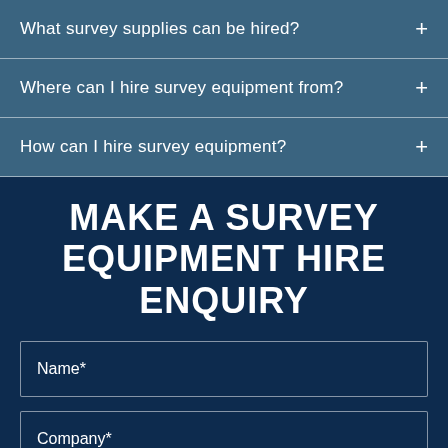What survey supplies can be hired?
Where can I hire survey equipment from?
How can I hire survey equipment?
MAKE A SURVEY EQUIPMENT HIRE ENQUIRY
Name*
Company*